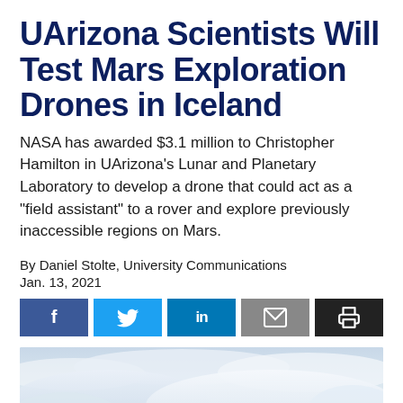UArizona Scientists Will Test Mars Exploration Drones in Iceland
NASA has awarded $3.1 million to Christopher Hamilton in UArizona's Lunar and Planetary Laboratory to develop a drone that could act as a "field assistant" to a rover and explore previously inaccessible regions on Mars.
By Daniel Stolte, University Communications
Jan. 13, 2021
[Figure (other): Social sharing buttons: Facebook (f), Twitter (bird), LinkedIn (in), Email (envelope), Print (printer)]
[Figure (photo): Sky photograph showing clouds against a blue/grey sky, partial view of landscape below]